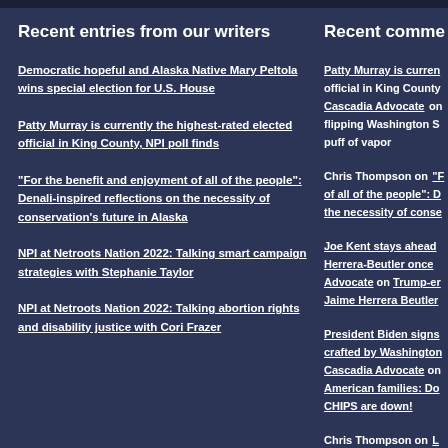Recent entries from our writers
Democratic hopeful and Alaska Native Mary Peltola wins special election for U.S. House
Patty Murray is currently the highest-rated elected official in King County, NPI poll finds
“For the benefit and enjoyment of all of the people”: Denali-inspired reflections on the necessity of conservation’s future in Alaska
NPI at Netroots Nation 2022: Talking smart campaign strategies with Stephanie Taylor
NPI at Netroots Nation 2022: Talking abortion rights and disability justice with Cori Frazer
Recent comme…
Patty Murray is curren… official in King County… Cascadia Advocate on flipping Washington S… puff of vapor
Chris Thompson on “F… of all of the people”: D… the necessity of conse…
Joe Kent stays ahead … Herrera-Beutler once… Advocate on Trump-er… Jaime Herrera Beutler…
President Biden signs… crafted by Washington… Cascadia Advocate on… American families: Do… CHIPS are down!
Chris Thompson on L… Cascadia's U.S. lawma…